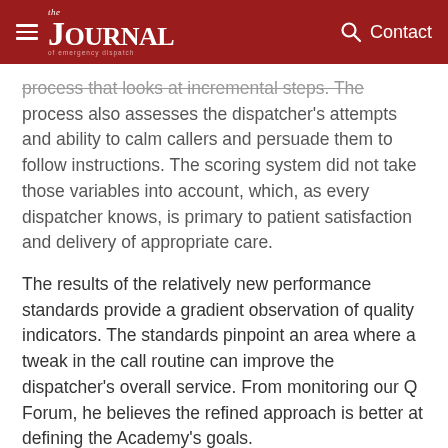the JOURNAL of emergency dispatch | Contact
process that looks at incremental steps. The process also assesses the dispatcher's attempts and ability to calm callers and persuade them to follow instructions. The scoring system did not take those variables into account, which, as every dispatcher knows, is primary to patient satisfaction and delivery of appropriate care.
The results of the relatively new performance standards provide a gradient observation of quality indicators. The standards pinpoint an area where a tweak in the call routine can improve the dispatcher's overall service. From monitoring our Q Forum, he believes the refined approach is better at defining the Academy's goals.
As Dr. Jeff Clawson has preached from Day 1, emergency dispatch is part of the EMS chain it...